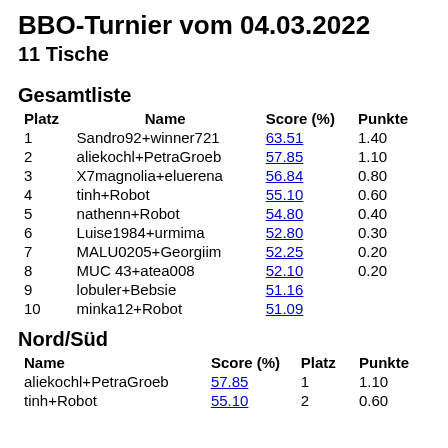BBO-Turnier vom 04.03.2022
11 Tische
Gesamtliste
| Platz | Name | Score (%) | Punkte |
| --- | --- | --- | --- |
| 1 | Sandro92+winner721 | 63.51 | 1.40 |
| 2 | aliekochl+PetraGroeb | 57.85 | 1.10 |
| 3 | X7magnolia+eluerena | 56.84 | 0.80 |
| 4 | tinh+Robot | 55.10 | 0.60 |
| 5 | nathenn+Robot | 54.80 | 0.40 |
| 6 | Luise1984+urmima | 52.80 | 0.30 |
| 7 | MALU0205+Georgiim | 52.25 | 0.20 |
| 8 | MUC 43+atea008 | 52.10 | 0.20 |
| 9 | lobuler+Bebsie | 51.16 |  |
| 10 | minka12+Robot | 51.09 |  |
Nord/Süd
| Name | Score (%) | Platz | Punkte |
| --- | --- | --- | --- |
| aliekochl+PetraGroeb | 57.85 | 1 | 1.10 |
| tinh+Robot | 55.10 | 2 | 0.60 |